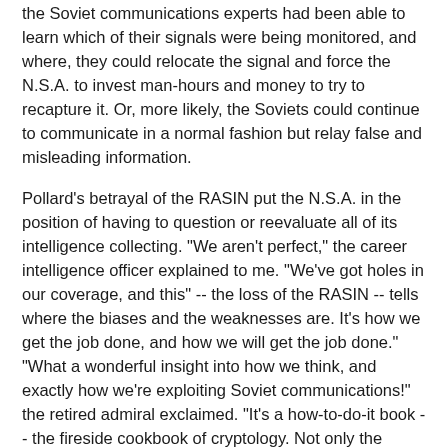the Soviet communications experts had been able to learn which of their signals were being monitored, and where, they could relocate the signal and force the N.S.A. to invest man-hours and money to try to recapture it. Or, more likely, the Soviets could continue to communicate in a normal fashion but relay false and misleading information.
Pollard's betrayal of the RASIN put the N.S.A. in the position of having to question or reevaluate all of its intelligence collecting. "We aren't perfect," the career intelligence officer explained to me. "We've got holes in our coverage, and this" -- the loss of the RASIN -- tells where the biases and the weaknesses are. It's how we get the job done, and how we will get the job done." "What a wonderful insight into how we think, and exactly how we're exploiting Soviet communications!" the retired admiral exclaimed. "It's a how-to-do-it book -- the fireside cookbook of cryptology. Not only the analyses but the facts of how we derived our analyses. Whatever recipe you want."
Pollard, asked about the specific programs he compromised, told me, "As far as SIGINT information is concerned, the